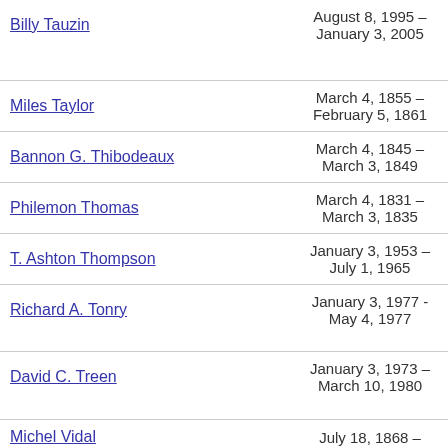| Name | Dates | Party | # |
| --- | --- | --- | --- |
| Billy Tauzin | August 8, 1995 – January 3, 2005 | Republican | 3 |
| Miles Taylor | March 4, 1855 – February 5, 1861 | Democratic | 2 |
| Bannon G. Thibodeaux | March 4, 1845 – March 3, 1849 | Democratic | 2 |
| Philemon Thomas | March 4, 1831 – March 3, 1835 | Jacksonian | 2 |
| T. Ashton Thompson | January 3, 1953 – July 1, 1965 | Democratic | 7 |
| Richard A. Tonry | January 3, 1977 - May 4, 1977 | Democratic | 1 |
| David C. Treen | January 3, 1973 – March 10, 1980 | Republican | 3 |
| Michel Vidal | July 18, 1868 – | Republican | 4 |